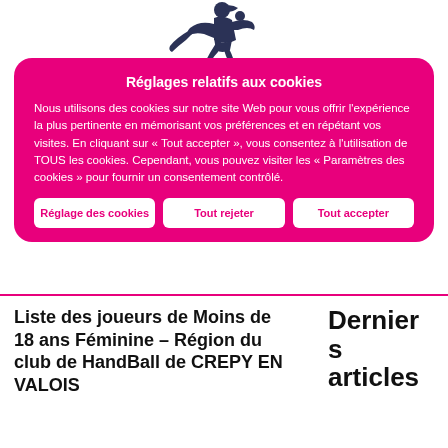[Figure (logo): SAHB handball club logo with a player silhouette throwing a ball above large bold 'SAHB' text in dark navy blue]
Réglages relatifs aux cookies
Nous utilisons des cookies sur notre site Web pour vous offrir l'expérience la plus pertinente en mémorisant vos préférences et en répétant vos visites. En cliquant sur « Tout accepter », vous consentez à l'utilisation de TOUS les cookies. Cependant, vous pouvez visiter les « Paramètres des cookies » pour fournir un consentement contrôlé.
Réglage des cookies
Tout rejeter
Tout accepter
Liste des joueurs de Moins de 18 ans Féminine – Région du club de HandBall de CREPY EN VALOIS
Derniers articles